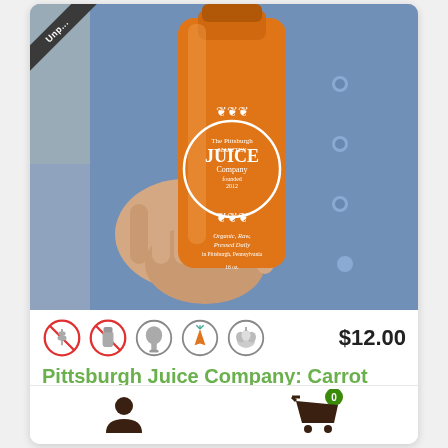[Figure (photo): Person holding an orange juice bottle from The Pittsburgh Juice Company, labeled Organic, Raw, Pressed Daily, in Pittsburgh Pennsylvania. The bottle is a glass jar with decorative white label.]
Unpasteurized
$12.00
Pittsburgh Juice Company: Carrot apple ...
[Figure (infographic): Dietary icons: no grains (crossed wheat), no dairy (crossed bottle), chicken/poultry, carrot/vegetable, garlic/allium]